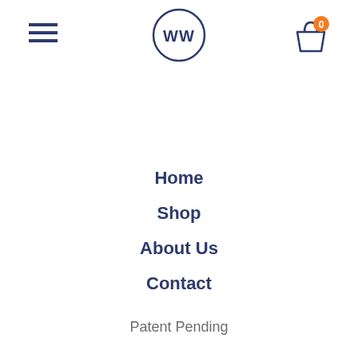[Figure (logo): WW logo inside a circle, navy blue outline]
[Figure (other): Hamburger menu icon (three horizontal lines), navy blue, top left]
[Figure (other): Shopping bag icon with orange badge showing 0, top right]
Home
Shop
About Us
Contact
Patent Pending